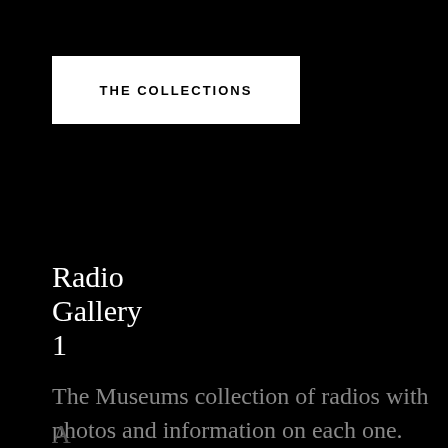THE COLLECTIONS
Radio Gallery 1
The Museums collection of radios with photos and information on each one.
RADIO GALLERY 1
A